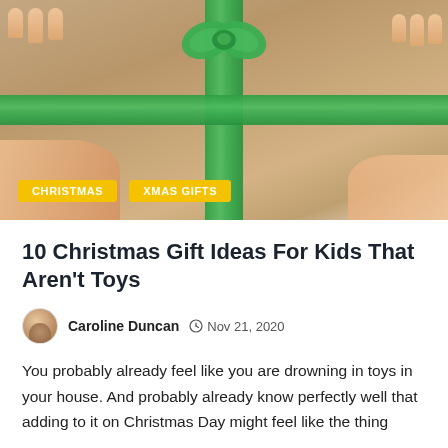[Figure (photo): Hands holding a brown kraft-paper wrapped gift box with a bright green satin ribbon and bow on top. Two yellow/gold category tag badges overlay the bottom-left of the image: CHRISTMAS and XMAS GIFTS.]
10 Christmas Gift Ideas For Kids That Aren't Toys
Caroline Duncan  Nov 21, 2020
You probably already feel like you are drowning in toys in your house. And probably already know perfectly well that adding to it on Christmas Day might feel like the thing